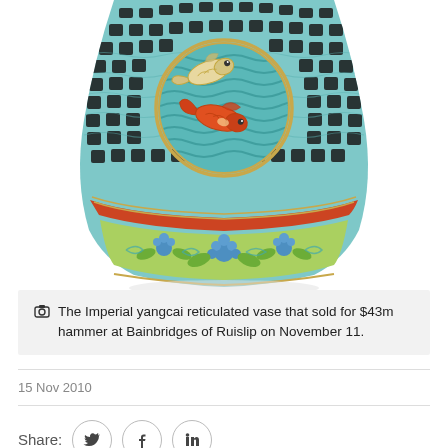[Figure (photo): Close-up photograph of an Imperial yangcai reticulated vase with turquoise lattice work, a central medallion showing two koi fish in water, red and blue decorative band at base, on white background]
The Imperial yangcai reticulated vase that sold for $43m hammer at Bainbridges of Ruislip on November 11.
15 Nov 2010
Share: